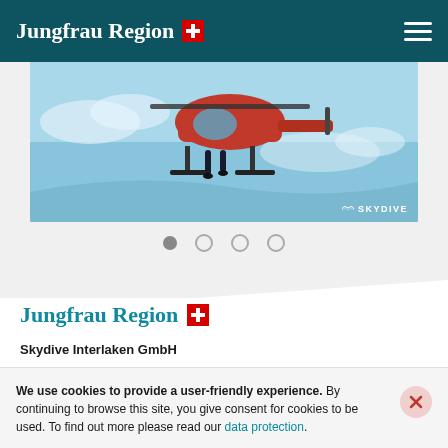Jungfrau Region
[Figure (photo): Aerial photo of a red helicopter/aircraft viewed from below against a blue sky, with a skydiver visible. SKYDIVE watermark in bottom right corner.]
[Figure (other): Carousel navigation dots: 4 dots, first filled/active, remaining three empty circles]
Jungfrau Region
Skydive Interlaken GmbH
We use cookies to provide a user-friendly experience. By continuing to browse this site, you give consent for cookies to be used. To find out more please read our data protection.